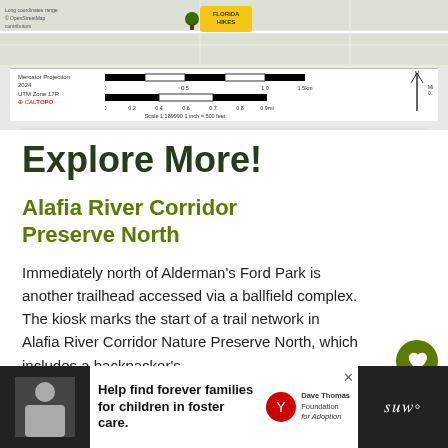[Figure (map): Topographic map of trail area with Florida Hikes badge, scale bar, Mercator Projection note, UTM Zone 17R label, CalTopo logo, and compass rose. Scale 1:189000, 1 inch = 500 feet.]
Explore More!
Alafia River Corridor Preserve North
Immediately north of Alderman's Ford Park is another trailhead accessed via a ballfield complex.
The kiosk marks the start of a trail network in Alafia River Corridor Nature Preserve North, which includes a backpacker's
[Figure (photo): Advertisement banner: Help find forever families for children in foster care. Dave Thomas Foundation for Adoption. Boy's photo on left.]